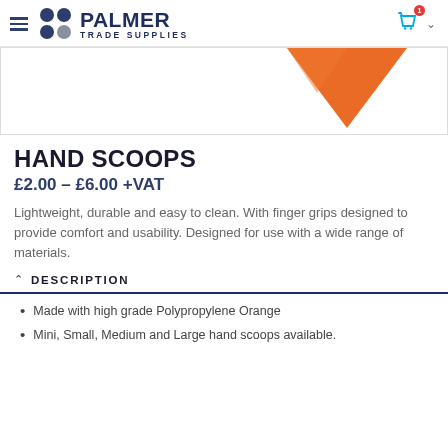Palmer Trade Supplies
[Figure (photo): Product image showing orange hand scoop (partially visible, triangular/funnel shape in orange)]
HAND SCOOPS
£2.00 – £6.00 +VAT
Lightweight, durable and easy to clean. With finger grips designed to provide comfort and usability. Designed for use with a wide range of materials.
DESCRIPTION
Made with high grade Polypropylene Orange
Mini, Small, Medium and Large hand scoops available.